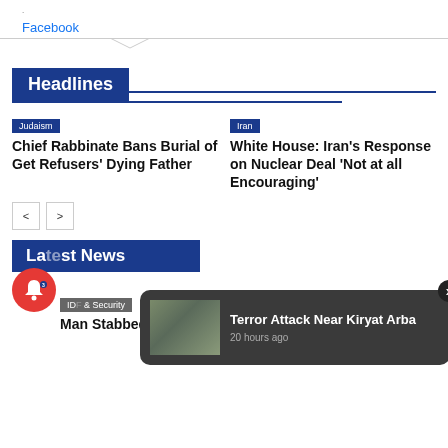Facebook
Headlines
Judaism
Chief Rabbinate Bans Burial of Get Refusers' Dying Father
Iran
White House: Iran's Response on Nuclear Deal 'Not at all Encouraging'
Latest News
IDF & Security
Man Stabbed in
IDF & Security
Long Haired,
[Figure (screenshot): Notification popup: Terror Attack Near Kiryat Arba, 20 hours ago, with soldier image thumbnail]
[Figure (screenshot): Red notification bell icon with badge showing 3]